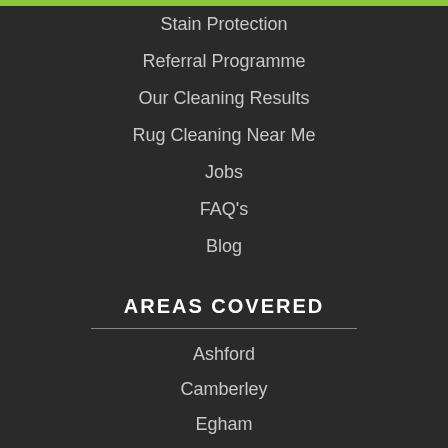Stain Protection
Referral Programme
Our Cleaning Results
Rug Cleaning Near Me
Jobs
FAQ's
Blog
AREAS COVERED
Ashford
Camberley
Egham
Epsom